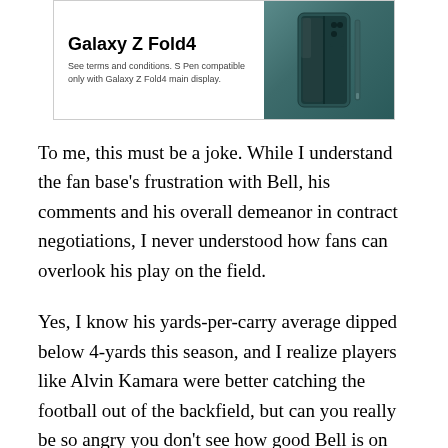[Figure (advertisement): Samsung Galaxy Z Fold4 advertisement with teal/dark green phone image on right and product name text on left. Small disclaimer text reads: See terms and conditions. S Pen compatible only with Galaxy Z Fold4 main display.]
To me, this must be a joke. While I understand the fan base’s frustration with Bell, his comments and his overall demeanor in contract negotiations, I never understood how fans can overlook his play on the field.
Yes, I know his yards-per-carry average dipped below 4-yards this season, and I realize players like Alvin Kamara were better catching the football out of the backfield, but can you really be so angry you don’t see how good Bell is on the field??
Bell certainly has brought many headaches to the organization, but his play on the field has been nothing short of spectacular. I can snow the statistics out, and